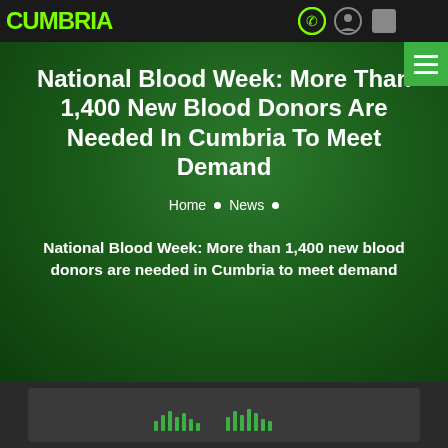CUMBRIA | [navigation icons]
National Blood Week: More Than 1,400 New Blood Donors Are Needed In Cumbria To Meet Demand
Home • News •
National Blood Week: More than 1,400 new blood donors are needed in Cumbria to meet demand
[Figure (other): Audio player waveform visualization with green vertical bars on dark background]